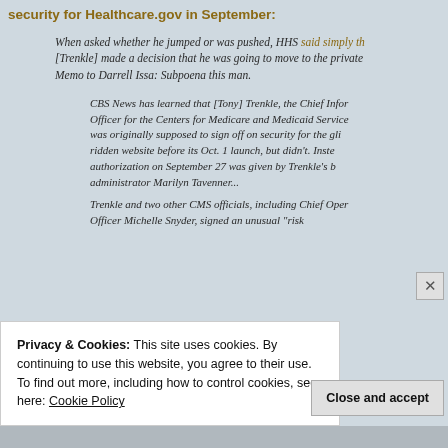security for Healthcare.gov in September:
When asked whether he jumped or was pushed, HHS said simply th[at] [Trenkle] made a decision that he was going to move to the private [sector]. Memo to Darrell Issa: Subpoena this man.
CBS News has learned that [Tony] Trenkle, the Chief Infor[mation] Officer for the Centers for Medicare and Medicaid Service[s], was originally supposed to sign off on security for the glit[ch-] ridden website before its Oct. 1 launch, but didn't. Inste[ad,] authorization on September 27 was given by Trenkle's b[oss,] administrator Marilyn Tavenner...
Trenkle and two other CMS officials, including Chief Oper[ations] Officer Michelle Snyder, signed an unusual "risk [...]
Privacy & Cookies: This site uses cookies. By continuing to use this website, you agree to their use.
To find out more, including how to control cookies, see here: Cookie Policy
Close and accept